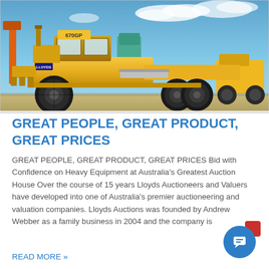[Figure (photo): Photograph of a yellow Caterpillar 670GP motor grader (road grading machine) parked outdoors, with other heavy construction equipment visible in the background, blue sky with clouds above.]
GREAT PEOPLE, GREAT PRODUCT, GREAT PRICES
GREAT PEOPLE, GREAT PRODUCT, GREAT PRICES Bid with Confidence on Heavy Equipment at Australia's Greatest Auction House Over the course of 15 years Lloyds Auctioneers and Valuers have developed into one of Australia's premier auctioneering and valuation companies. Lloyds Auctions was founded by Andrew Webber as a family business in 2004 and the company is
READ MORE »